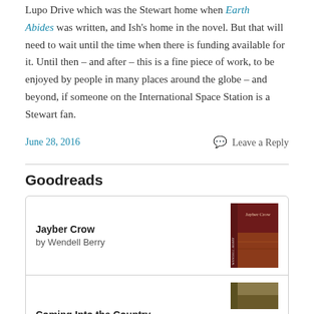Lupo Drive which was the Stewart home when Earth Abides was written, and Ish's home in the novel. But that will need to wait until the time when there is funding available for it.  Until then – and after – this is a fine piece of work, to be enjoyed by people in many places around the globe – and beyond, if someone on the International Space Station is a Stewart fan.
June 28, 2016    Leave a Reply
Goodreads
Jayber Crow
by Wendell Berry
Coming Into the Country